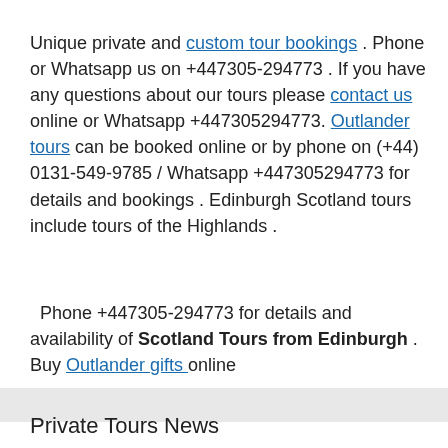Unique private and custom tour bookings . Phone or Whatsapp us on +447305-294773 . If you have any questions about our tours please contact us online or Whatsapp +447305294773. Outlander tours can be booked online or by phone on (+44) 0131-549-9785 / Whatsapp +447305294773 for details and bookings . Edinburgh Scotland tours include tours of the Highlands .
Phone +447305-294773 for details and availability of Scotland Tours from Edinburgh . Buy Outlander gifts online
Private Tours News